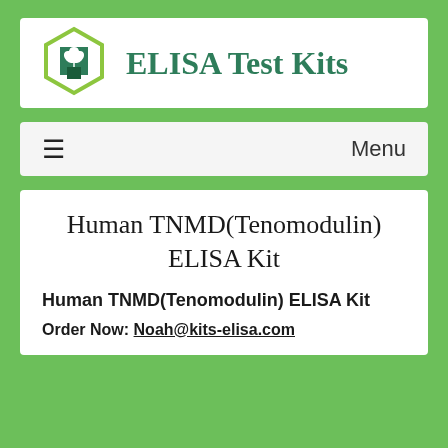[Figure (logo): ELISA Test Kits logo: hexagon shape with cannabis leaf and medical cross icons, green color scheme, with text 'ELISA Test Kits' in teal/green serif font]
≡  Menu
Human TNMD(Tenomodulin) ELISA Kit
Human TNMD(Tenomodulin) ELISA Kit
Order Now: Noah@kits-elisa.com